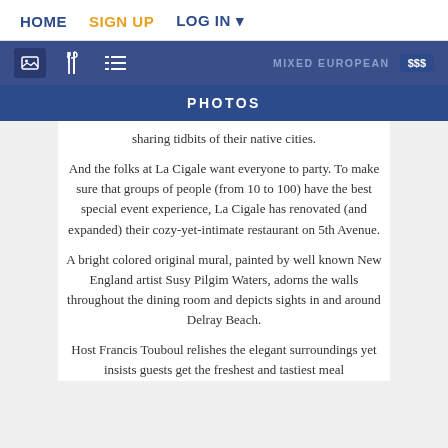HOME  SIGN UP  LOG IN
[Figure (screenshot): Navigation icon toolbar with image icon, utensils icon, list icon on dark blue background; MIXED EUROPEAN label and $$$ price badge on right]
PHOTOS
sharing tidbits of their native cities.
And the folks at La Cigale want everyone to party. To make sure that groups of people (from 10 to 100) have the best special event experience, La Cigale has renovated (and expanded) their cozy-yet-intimate restaurant on 5th Avenue.
A bright colored original mural, painted by well known New England artist Susy Pilgim Waters, adorns the walls throughout the dining room and depicts sights in and around Delray Beach.
Host Francis Touboul relishes the elegant surroundings yet insists guests get the freshest and tastiest meal possible. "We want to highlight the cuisine dishes but..."